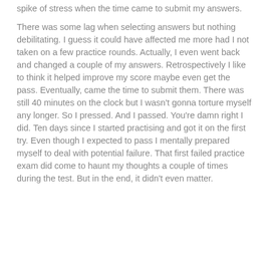spike of stress when the time came to submit my answers.
There was some lag when selecting answers but nothing debilitating. I guess it could have affected me more had I not taken on a few practice rounds. Actually, I even went back and changed a couple of my answers. Retrospectively I like to think it helped improve my score maybe even get the pass. Eventually, came the time to submit them. There was still 40 minutes on the clock but I wasn't gonna torture myself any longer. So I pressed. And I passed. You're damn right I did. Ten days since I started practising and got it on the first try. Even though I expected to pass I mentally prepared myself to deal with potential failure. That first failed practice exam did come to haunt my thoughts a couple of times during the test. But in the end, it didn't even matter.